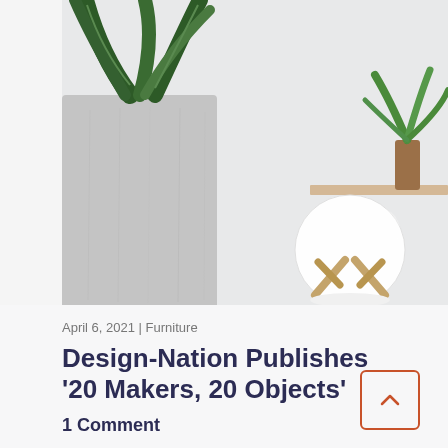[Figure (photo): A minimalist home decor scene: a large cylindrical grey concrete planter with a snake plant on the left, a white spherical moon lamp on a wooden X-shaped stand in the center, and a small plant in a wooden vase on a wooden shelf in the upper right corner. Light, airy background.]
April 6, 2021 | Furniture
Design-Nation Publishes ‘20 Makers, 20 Objects’
1 Comment